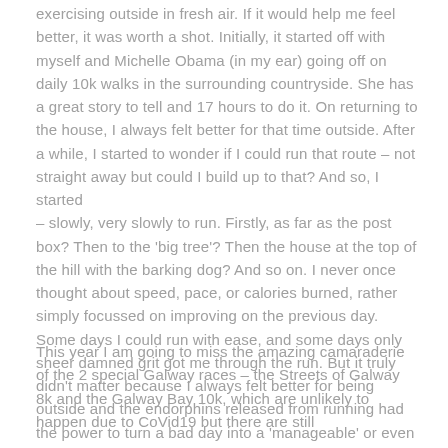exercising outside in fresh air. If it would help me feel better, it was worth a shot. Initially, it started off with myself and Michelle Obama (in my ear) going off on daily 10k walks in the surrounding countryside. She has a great story to tell and 17 hours to do it. On returning to the house, I always felt better for that time outside. After a while, I started to wonder if I could run that route – not straight away but could I build up to that? And so, I started – slowly, very slowly to run. Firstly, as far as the post box? Then to the 'big tree'? Then the house at the top of the hill with the barking dog? And so on. I never once thought about speed, pace, or calories burned, rather simply focussed on improving on the previous day. Some days I could run with ease, and some days only sheer damned grit got me through the run. But it truly didn't matter because I always felt better for being outside and the endorphins released from running had the power to turn a bad day into a 'manageable' or even a 'good' day. 18 months on and my mantra is still #runforheadspace.
This year I am going to miss the amazing camaraderie of the 2 special Galway races – the Streets of Galway 8k and the Galway Bay 10k, which are unlikely to happen due to CoVid19 but there are still